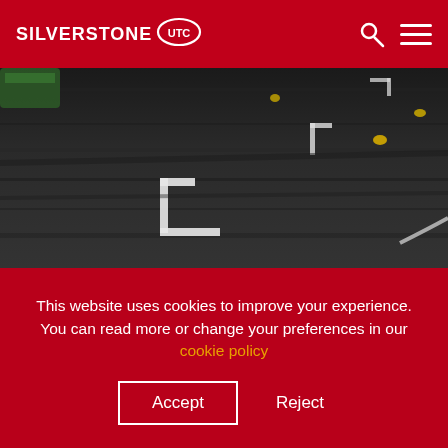SILVERSTONE UTC
[Figure (photo): Aerial or ground-level photograph of a dark asphalt racing track surface with white painted markings and yellow markers visible.]
This website uses cookies to improve your experience. You can read more or change your preferences in our cookie policy
Accept   Reject